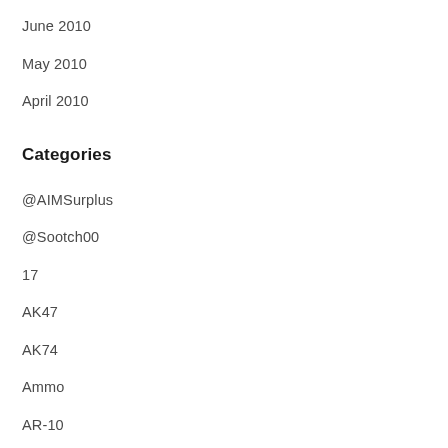June 2010
May 2010
April 2010
Categories
@AIMSurplus
@Sootch00
17
AK47
AK74
Ammo
AR-10
AR-15
Barrel